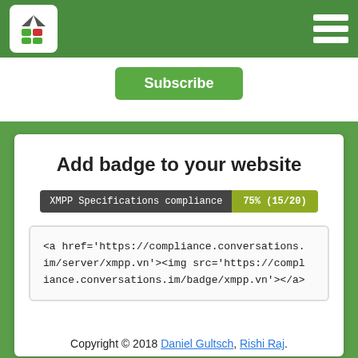XMPP Compliance Tester – header with logo and hamburger menu
Subscribe
Add badge to your website
[Figure (other): Badge showing: XMPP Specifications compliance 75% (15/20)]
<a href='https://compliance.conversations.im/server/xmpp.vn'><img src='https://compliance.conversations.im/badge/xmpp.vn'></a>
Copyright © 2018 Daniel Gultsch, Rishi Raj.